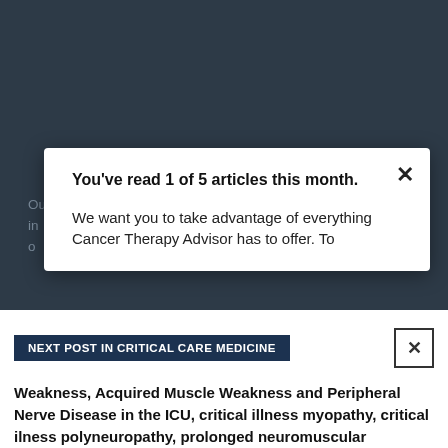CancerTherapyAdvisor.com is a free online resource that offers oncology healthcare professionals a comprehensive knowledge base of practical oncology information and clinical tools to assist in making the right decisions for their patients.
Our mission is to provide practice-focused clinical and drug information to oncology healthcare professionals to help improve patient care.
You've read 1 of 5 articles this month.
We want you to take advantage of everything Cancer Therapy Advisor has to offer. To view unlimited content, log in or register for free.
NEXT POST IN CRITICAL CARE MEDICINE
Weakness, Acquired Muscle Weakness and Peripheral Nerve Disease in the ICU, critical illness myopathy, critical ilness polyneuropathy, prolonged neuromuscular blockade